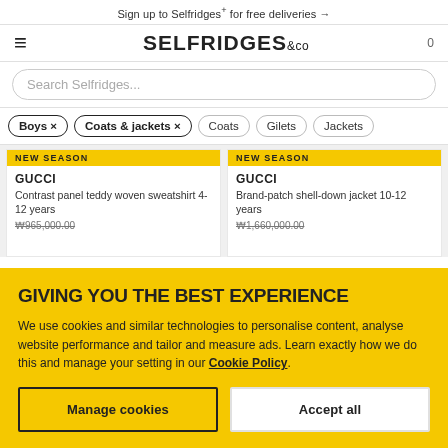Sign up to Selfridges+ for free deliveries →
SELFRIDGES &CO
Search Selfridges...
Boys × | Coats & jackets × | Coats | Gilets | Jackets
NEW SEASON
GUCCI
Contrast panel teddy woven sweatshirt 4-12 years
NEW SEASON
GUCCI
Brand-patch shell-down jacket 10-12 years
GIVING YOU THE BEST EXPERIENCE
We use cookies and similar technologies to personalise content, analyse website performance and tailor and measure ads. Learn exactly how we do this and manage your setting in our Cookie Policy.
Manage cookies
Accept all